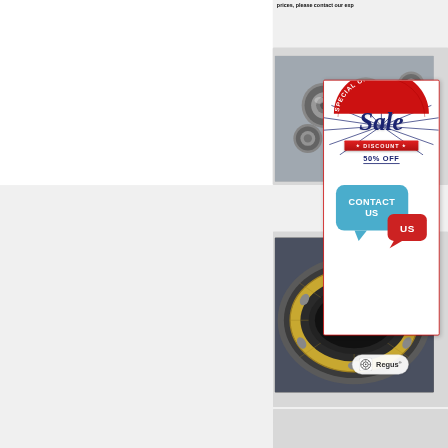prices, please contact our exp
[Figure (illustration): Composite image: small ball bearings (top) and large cylindrical bearing (bottom) with overlay advertisement card showing 'SPECIAL OFFER Sale DISCOUNT 50% OFF' in red and navy, a 'CONTACT US' chat bubble graphic, and a Regus logo badge at the bottom.]